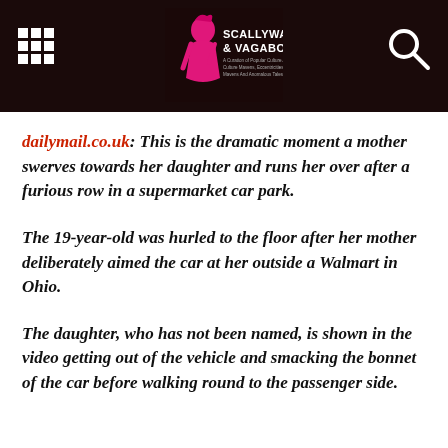Scallywag & Vagabond
dailymail.co.uk: This is the dramatic moment a mother swerves towards her daughter and runs her over after a furious row in a supermarket car park.
The 19-year-old was hurled to the floor after her mother deliberately aimed the car at her outside a Walmart in Ohio.
The daughter, who has not been named, is shown in the video getting out of the vehicle and smacking the bonnet of the car before walking round to the passenger side.